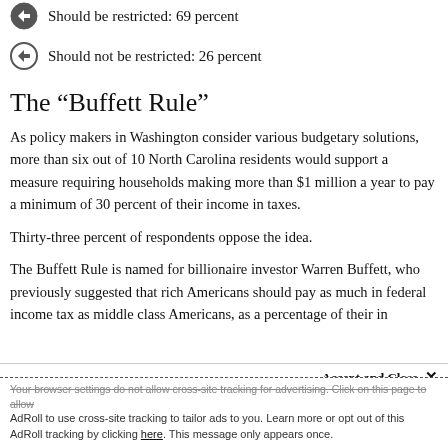Should be restricted: 69 percent
Should not be restricted: 26 percent
The “Buffett Rule”
As policy makers in Washington consider various budgetary solutions, more than six out of 10 North Carolina residents would support a measure requiring households making more than $1 million a year to pay a minimum of 30 percent of their income in taxes.
Thirty-three percent of respondents oppose the idea.
The Buffett Rule is named for billionaire investor Warren Buffett, who previously suggested that rich Americans should pay as much in federal income tax as middle class Americans, as a percentage of their in…
Accept and Close ×
Your browser settings do not allow cross-site tracking for advertising. Click on this page to allow AdRoll to use cross-site tracking to tailor ads to you. Learn more or opt out of this AdRoll tracking by clicking here. This message only appears once.